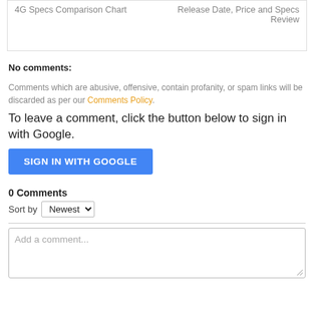4G Specs Comparison Chart
Release Date, Price and Specs Review
No comments:
Comments which are abusive, offensive, contain profanity, or spam links will be discarded as per our Comments Policy.
To leave a comment, click the button below to sign in with Google.
SIGN IN WITH GOOGLE
0 Comments
Sort by Newest
Add a comment...